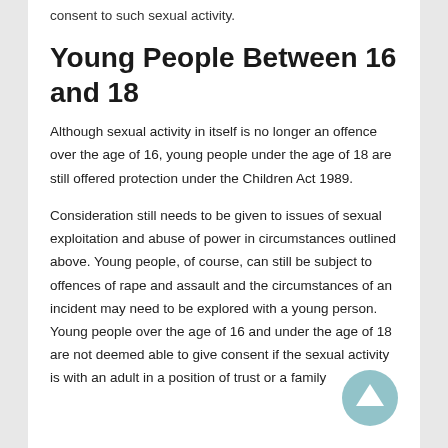consent to such sexual activity.
Young People Between 16 and 18
Although sexual activity in itself is no longer an offence over the age of 16, young people under the age of 18 are still offered protection under the Children Act 1989.
Consideration still needs to be given to issues of sexual exploitation and abuse of power in circumstances outlined above. Young people, of course, can still be subject to offences of rape and assault and the circumstances of an incident may need to be explored with a young person. Young people over the age of 16 and under the age of 18 are not deemed able to give consent if the sexual activity is with an adult in a position of trust or a family
[Figure (illustration): Circular scroll-up navigation button with upward arrow, teal/blue color, partially overlapping the text in the bottom right corner.]